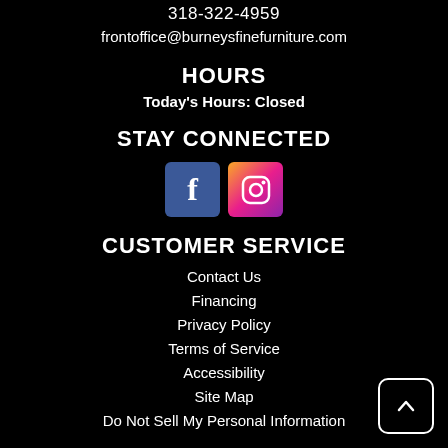318-322-4959
frontoffice@burneysfinefurniture.com
HOURS
Today's Hours: Closed
STAY CONNECTED
[Figure (other): Facebook and Instagram social media icons]
CUSTOMER SERVICE
Contact Us
Financing
Privacy Policy
Terms of Service
Accessibility
Site Map
Do Not Sell My Personal Information